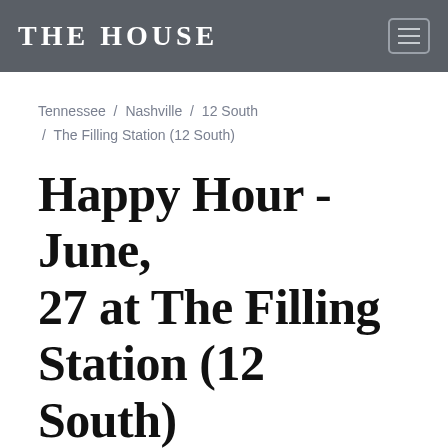THE HOUSE
Tennessee / Nashville / 12 South / The Filling Station (12 South)
Happy Hour - June, 27 at The Filling Station (12 South)
Mon 06/27/22 3:00 PM - 6:00 PM CDT
Happy Hour from 3PM-6PM includes $1 off all pints!